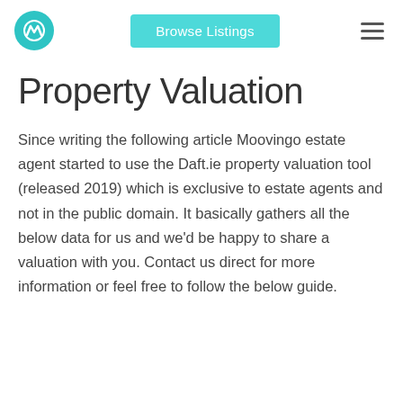Moovingo | Browse Listings | menu
Property Valuation
Since writing the following article Moovingo estate agent started to use the Daft.ie property valuation tool (released 2019) which is exclusive to estate agents and not in the public domain. It basically gathers all the below data for us and we'd be happy to share a valuation with you. Contact us direct for more information or feel free to follow the below guide.